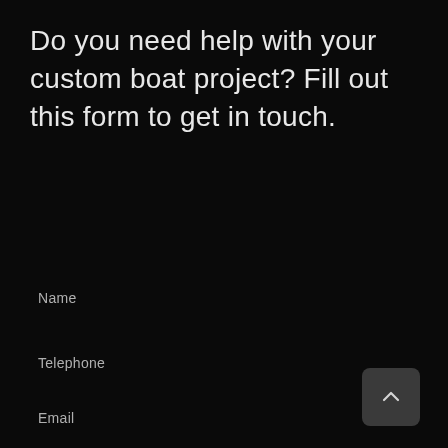Do you need help with your custom boat project? Fill out this form to get in touch.
Name
Telephone
Email